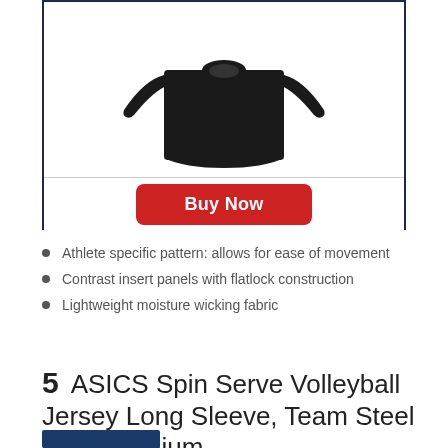[Figure (photo): Black long sleeve athletic volleyball jersey shown from the front/torso area against a white background, inside a dark navy bordered box with a Buy Now button below a divider line.]
Athlete specific pattern: allows for ease of movement
Contrast insert panels with flatlock construction
Lightweight moisture wicking fabric
5   ASICS Spin Serve Volleyball Jersey Long Sleeve, Team Steel Grey, Medium